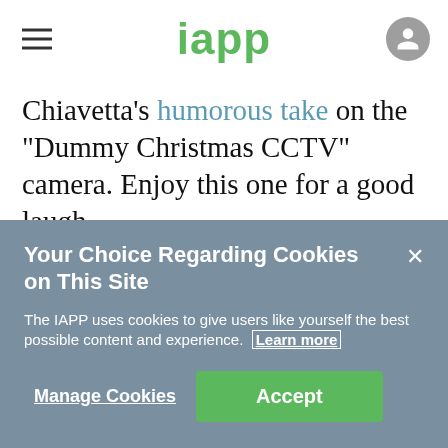iapp
Chiavetta's humorous take on the "Dummy Christmas CCTV" camera. Enjoy this one for a good laugh.

As we near the end of 2017, one of the remaining developments on the privacy docket is the future of Section 702 of the
Your Choice Regarding Cookies on This Site
The IAPP uses cookies to give users like yourself the best possible content and experience. Learn more
Manage Cookies  Accept